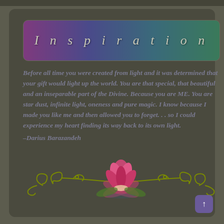I n s p i r a t i o n
Before all time you were created from light and it was determined that your gift would light up the world. You are that special, that beautiful and an inseparable part of the Divine. Because you are ME. You are star dust, infinite light, oneness and pure magic. I know because I made you like me and then allowed you to forget. . . so I could experience my heart finding its way back to its own light.
–Darius Barazandeh
[Figure (illustration): A pink lotus flower centered above decorative olive-green scrollwork/vine ornament spanning the width of the card]